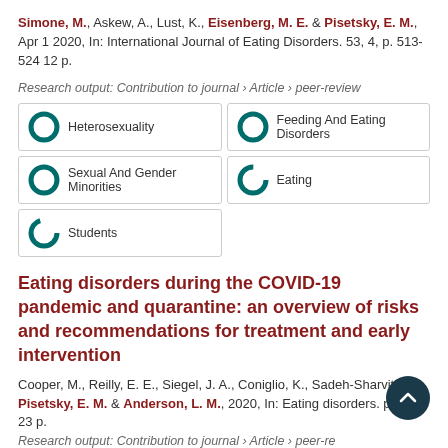Simone, M., Askew, A., Lust, K., Eisenberg, M. E. & Pisetsky, E. M., Apr 1 2020, In: International Journal of Eating Disorders. 53, 4, p. 513-524 12 p.
Research output: Contribution to journal › Article › peer-review
Heterosexuality | Feeding And Eating Disorders | Sexual And Gender Minorities | Eating | Students
Eating disorders during the COVID-19 pandemic and quarantine: an overview of risks and recommendations for treatment and early intervention
Cooper, M., Reilly, E. E., Siegel, J. A., Coniglio, K., Sadeh-Sharvit, S., Pisetsky, E. M. & Anderson, L. M., 2020, In: Eating disorders. p. 1-23 23 p.
Research output: Contribution to journal › Article › peer-review
Open Access